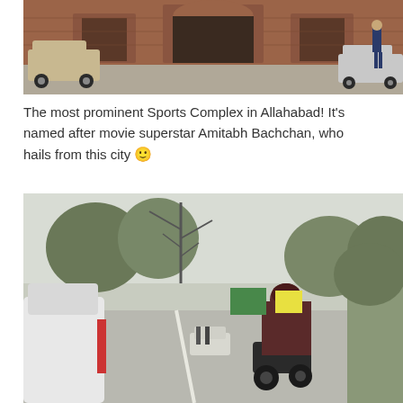[Figure (photo): Exterior view of a sports complex with red brick buildings and an arched gateway. Several cars are parked in front. A person in dark clothing is visible on the right side walking away.]
The most prominent Sports Complex in Allahabad! It's named after movie superstar Amitabh Bachchan, who hails from this city 🙂
[Figure (photo): Street scene in Allahabad showing a wide road. On the left is a silver car, in the center a person in dark robes rides a scooter, and in the background trees, pedestrians, and city buildings are visible in misty conditions.]